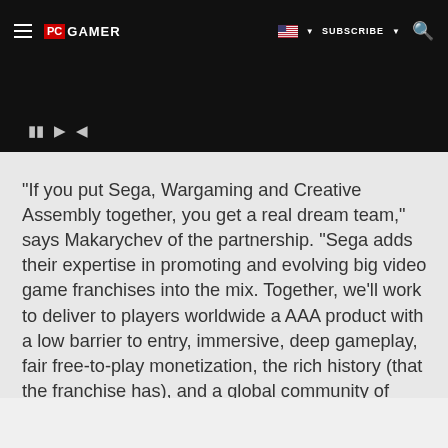PC GAMER | SUBSCRIBE
[Figure (screenshot): Dark banner area with small white media control icons]
"If you put Sega, Wargaming and Creative Assembly together, you get a real dream team," says Makarychev of the partnership. "Sega adds their expertise in promoting and evolving big video game franchises into the mix. Together, we'll work to deliver to players worldwide a AAA product with a low barrier to entry, immersive, deep gameplay, fair free-to-play monetization, the rich history (that the franchise has), and a global community of support services. On top of that, Total War: Arena will get access to the